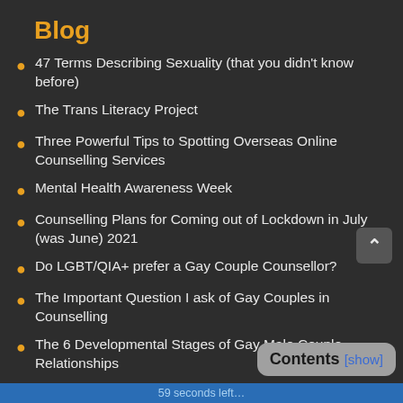Blog
47 Terms Describing Sexuality (that you didn't know before)
The Trans Literacy Project
Three Powerful Tips to Spotting Overseas Online Counselling Services
Mental Health Awareness Week
Counselling Plans for Coming out of Lockdown in July (was June) 2021
Do LGBT/QIA+ prefer a Gay Couple Counsellor?
The Important Question I ask of Gay Couples in Counselling
The 6 Developmental Stages of Gay Male Couple Relationships
LGBT Couple Counselling Blog...
59 seconds left…